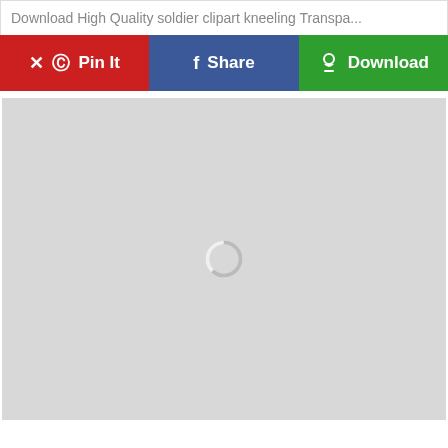Download High Quality soldier clipart kneeling Transpa...
[Figure (screenshot): Three social sharing buttons: Pin It (red), Share (blue), Download (green)]
[Figure (other): Light gray image loading area with a circular spinner/loading indicator in the center]